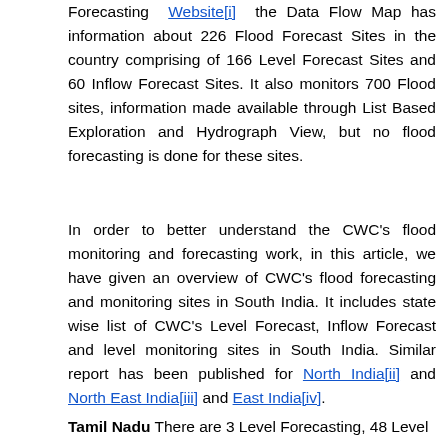Forecasting Website[i] the Data Flow Map has information about 226 Flood Forecast Sites in the country comprising of 166 Level Forecast Sites and 60 Inflow Forecast Sites. It also monitors 700 Flood sites, information made available through List Based Exploration and Hydrograph View, but no flood forecasting is done for these sites.
In order to better understand the CWC's flood monitoring and forecasting work, in this article, we have given an overview of CWC's flood forecasting and monitoring sites in South India. It includes state wise list of CWC's Level Forecast, Inflow Forecast and level monitoring sites in South India. Similar report has been published for North India[ii] and North East India[iii] and East India[iv].
Tamil Nadu There are 3 Level Forecasting, 48 Level